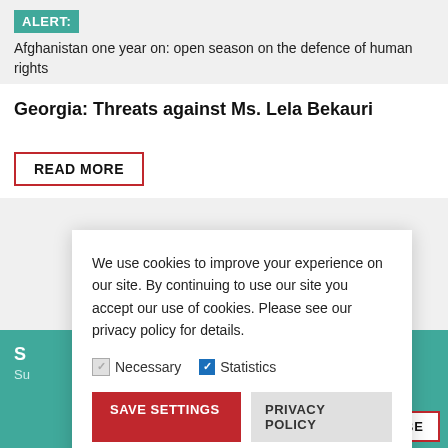ALERT: Afghanistan one year on: open season on the defence of human rights
Georgia: Threats against Ms. Lela Bekauri
READ MORE
We use cookies to improve your experience on our site. By continuing to use our site you accept our use of cookies. Please see our privacy policy for details.
Necessary   Statistics
SAVE SETTINGS   PRIVACY POLICY
S
Su
SUBSCRIBE